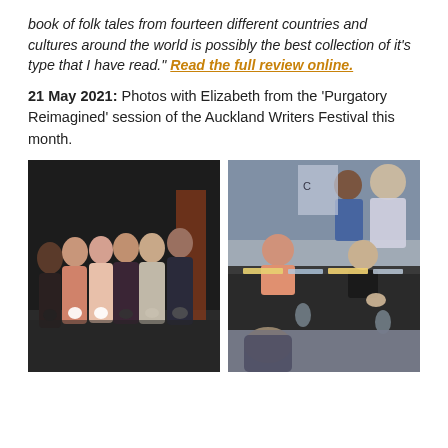book of folk tales from fourteen different countries and cultures around the world is possibly the best collection of it's type that I have read." Read the full review online.
21 May 2021: Photos with Elizabeth from the 'Purgatory Reimagined' session of the Auckland Writers Festival this month.
[Figure (photo): Group photo of six people standing together on a dark stage at the Auckland Writers Festival 'Purgatory Reimagined' session]
[Figure (photo): Book signing session at the Auckland Writers Festival, showing authors seated at a long dark table signing books for attendees]